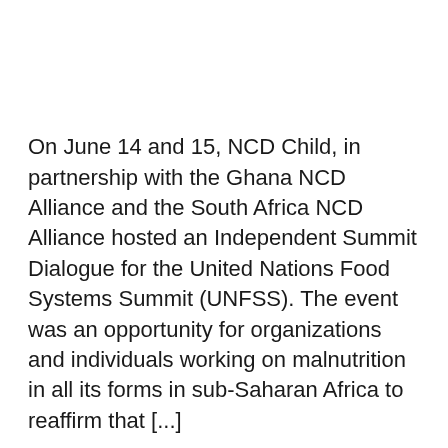On June 14 and 15, NCD Child, in partnership with the Ghana NCD Alliance and the South Africa NCD Alliance hosted an Independent Summit Dialogue for the United Nations Food Systems Summit (UNFSS). The event was an opportunity for organizations and individuals working on malnutrition in all its forms in sub-Saharan Africa to reaffirm that [...]